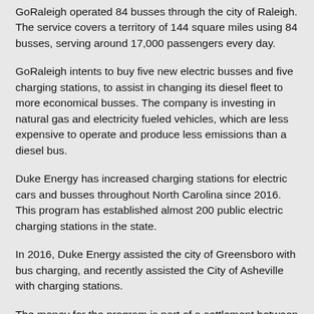GoRaleigh operated 84 busses through the city of Raleigh. The service covers a territory of 144 square miles using 84 busses, serving around 17,000 passengers every day.
GoRaleigh intents to buy five new electric busses and five charging stations, to assist in changing its diesel fleet to more economical busses. The company is investing in natural gas and electricity fueled vehicles, which are less expensive to operate and produce less emissions than a diesel bus.
Duke Energy has increased charging stations for electric cars and busses throughout North Carolina since 2016. This program has established almost 200 public electric charging stations in the state.
In 2016, Duke Energy assisted the city of Greensboro with bus charging, and recently assisted the City of Asheville with charging stations.
The money for the program is part of a settlement between environmental groups and the U.S. Environmental Protection Agency negotiated in 2015.